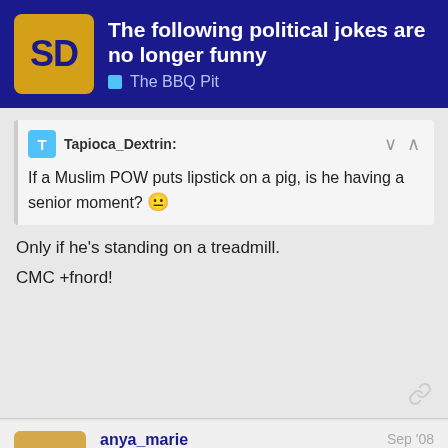The following political jokes are no longer funny | The BBQ Pit
Tapioca_Dextrin: If a Muslim POW puts lipstick on a pig, is he having a senior moment?
Only if he's standing on a treadmill.
CMC +fnord!
anya_marie
Guest
Sep '08
Maverick.
I'm so over it.
13 / 52